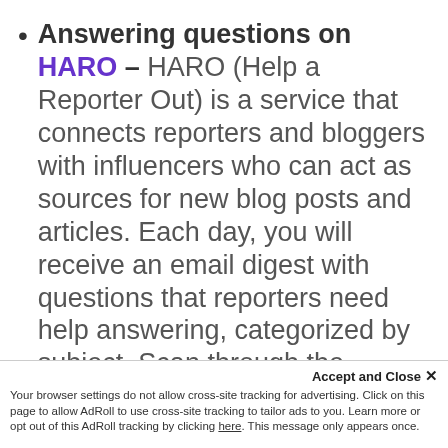Answering questions on HARO – HARO (Help a Reporter Out) is a service that connects reporters and bloggers with influencers who can act as sources for new blog posts and articles. Each day, you will receive an email digest with questions that reporters need help answering, categorized by subject. Scan through the digests to find potential opportunities, craft a response, and send it to the writer in need. In most cases, your quote will be incorporated into an article with your name, title, company,
Accept and Close ✕ Your browser settings do not allow cross-site tracking for advertising. Click on this page to allow AdRoll to use cross-site tracking to tailor ads to you. Learn more or opt out of this AdRoll tracking by clicking here. This message only appears once.